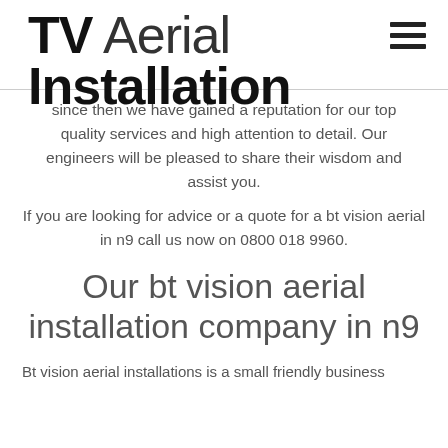TV Aerial Installation
since then we have gained a reputation for our top quality services and high attention to detail. Our engineers will be pleased to share their wisdom and assist you.
If you are looking for advice or a quote for a bt vision aerial in n9 call us now on 0800 018 9960.
Our bt vision aerial installation company in n9
Bt vision aerial installations is a small friendly business